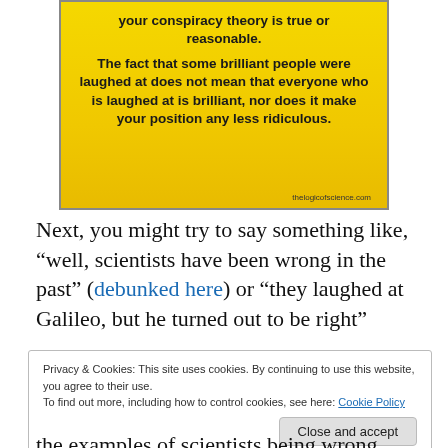[Figure (infographic): Yellow warning-sign style box with bold black text reading 'your conspiracy theory is true or reasonable. The fact that some brilliant people were laughed at does not mean that everyone who is laughed at is brilliant, nor does it make your position any less ridiculous.' with attribution 'thelogicofscience.com']
Next, you might try to say something like, “well, scientists have been wrong in the past” (debunked here) or “they laughed at Galileo, but he turned out to be right”
Privacy & Cookies: This site uses cookies. By continuing to use this website, you agree to their use.
To find out more, including how to control cookies, see here: Cookie Policy
Close and accept
the examples of scientists being wrong come from well